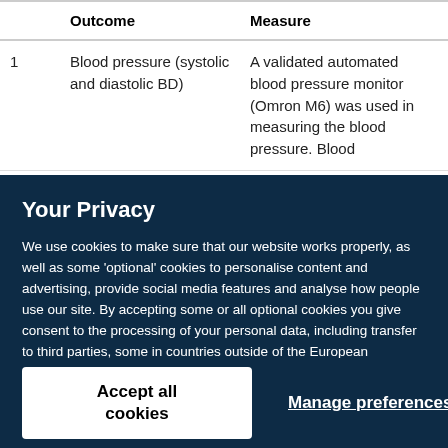|  | Outcome | Measure |
| --- | --- | --- |
| 1 | Blood pressure (systolic and diastolic BD) | A validated automated blood pressure monitor (Omron M6) was used in measuring the blood pressure. Blood |
Your Privacy
We use cookies to make sure that our website works properly, as well as some 'optional' cookies to personalise content and advertising, provide social media features and analyse how people use our site. By accepting some or all optional cookies you give consent to the processing of your personal data, including transfer to third parties, some in countries outside of the European Economic Area that do not offer the same data protection standards as the country where you live. You can decide which optional cookies to accept by clicking on 'Manage Settings', where you can also find more information about how your personal data is processed. Further information can be found in our privacy policy.
Accept all cookies
Manage preferences